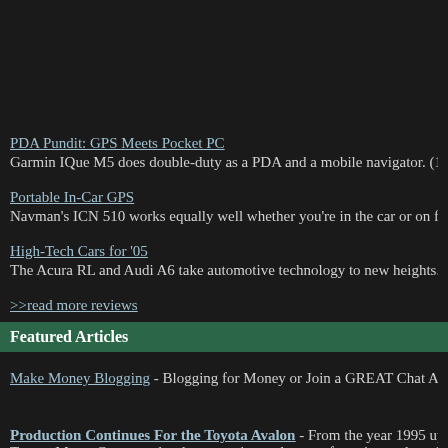PDA Pundit: GPS Meets Pocket PC - Garmin IQue M5 does double-duty as a PDA and a mobile navigator. (10-Feb-20...
Portable In-Car GPS - Navman's ICN 510 works equally well whether you're in the car or on foot. (21-D...
High-Tech Cars for '05 - The Acura RL and Audi A6 take automotive technology to new heights. (20-Dec-...
>>read more reviews
Featured Articles
Make Money Blogging - Blogging for Money or Join a GREAT Chat Affiliate P...
Production Continues For the Toyota Avalon - From the year 1995 up until th... Toyota Motor Company has been continuously manufacturing and producing a... that is marketed by the company as the Toyota Avalon.
How to Replace a Tire - Your Hyundai?s tire, or any vehicle?s tire, could get fl...